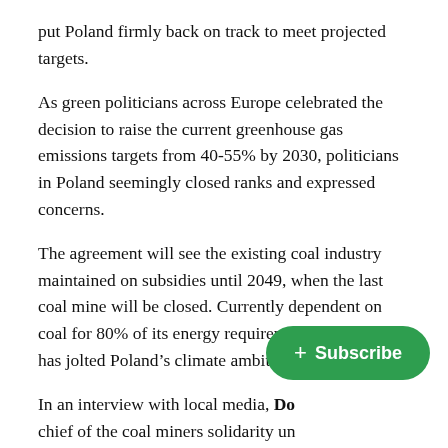put Poland firmly back on track to meet projected targets.
As green politicians across Europe celebrated the decision to raise the current greenhouse gas emissions targets from 40-55% by 2030, politicians in Poland seemingly closed ranks and expressed concerns.
The agreement will see the existing coal industry maintained on subsidies until 2049, when the last coal mine will be closed. Currently dependent on coal for 80% of its energy requirements, the move has jolted Poland’s climate ambitions into gear.
In an interview with local media, Do[...] chief of the coal miners solidarity un[...] “signed the liquidation of one of the most important industries in the history of the Polish Republic.”